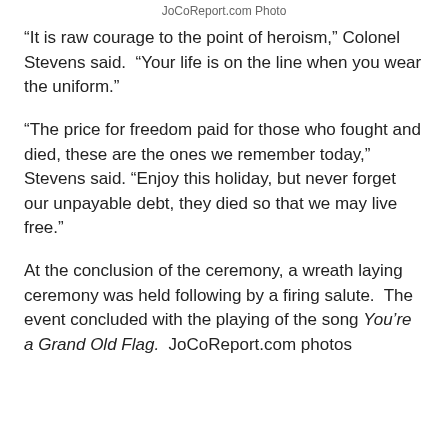JoCoReport.com Photo
“It is raw courage to the point of heroism,” Colonel Stevens said.  “Your life is on the line when you wear the uniform.”
“The price for freedom paid for those who fought and died, these are the ones we remember today,” Stevens said. “Enjoy this holiday, but never forget our unpayable debt, they died so that we may live free.”
At the conclusion of the ceremony, a wreath laying ceremony was held following by a firing salute.  The event concluded with the playing of the song You’re a Grand Old Flag.  JoCoReport.com photos